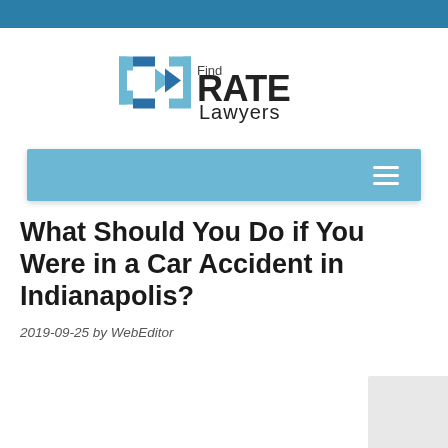[Figure (logo): FindRATE Lawyers logo with blue bracket/arrow icon and text 'Find RATE Lawyers']
[Figure (other): Blue navigation bar with hamburger menu icon on the right]
What Should You Do if You Were in a Car Accident in Indianapolis?
2019-09-25 by WebEditor